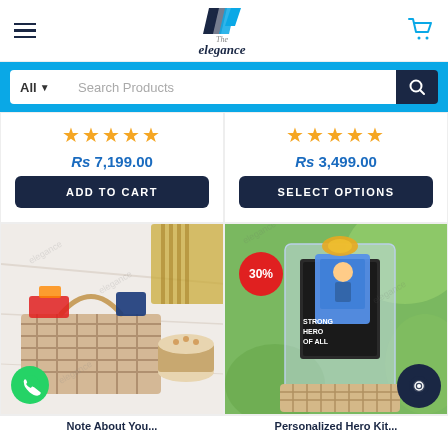[Figure (logo): The Elegance logo with stylized chevron/check mark icon and brand name]
Search Products
★★★★★ Rs 7,199.00 ADD TO CART
★★★★★ Rs 3,499.00 SELECT OPTIONS
[Figure (photo): Gift basket with chocolates, snacks and a cake on a marble surface with a gold striped tie]
[Figure (photo): Personalized hero kit gift bag with 30% discount badge, showing 'Strongest Hero of All' text on gift packaging]
Note About You...
Personalized Hero Kit...